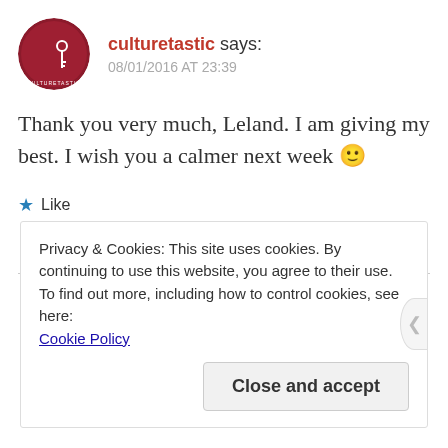[Figure (logo): Culturetastic circular logo with dark red background, moon and key symbol]
culturetastic says:
08/01/2016 AT 23:39
Thank you very much, Leland. I am giving my best. I wish you a calmer next week 🙂
★ Like
LOG IN TO REPLY
Privacy & Cookies: This site uses cookies. By continuing to use this website, you agree to their use.
To find out more, including how to control cookies, see here:
Cookie Policy
Close and accept